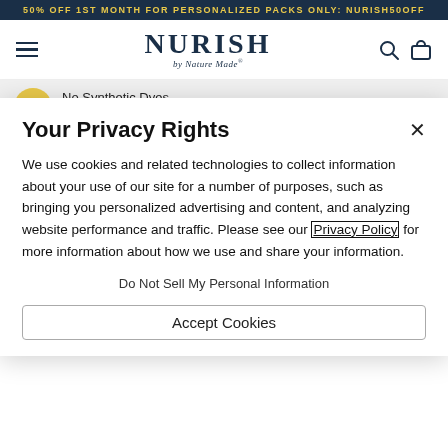50% OFF 1ST MONTH FOR PERSONALIZED PACKS ONLY: NURISH50OFF
[Figure (logo): Nurish by NatureMade logo with hamburger menu, search icon, and cart icon in navy navigation bar]
No Synthetic Dyes - Colors Derived
Your Privacy Rights
We use cookies and related technologies to collect information about your use of our site for a number of purposes, such as bringing you personalized advertising and content, and analyzing website performance and traffic. Please see our Privacy Policy for more information about how we use and share your information.
Do Not Sell My Personal Information
Accept Cookies